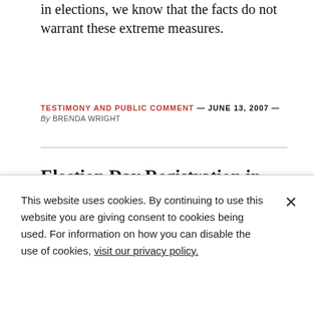in elections, we know that the facts do not warrant these extreme measures.
TESTIMONY AND PUBLIC COMMENT — JUNE 13, 2007 — By BRENDA WRIGHT
Election Day Registration in Nebraska
By passing EDR legislation, Nebraska would be taking a major step towards expanding access to the democratic process to all Nebraskans.
This website uses cookies. By continuing to use this website you are giving consent to cookies being used. For information on how you can disable the use of cookies, visit our privacy policy.